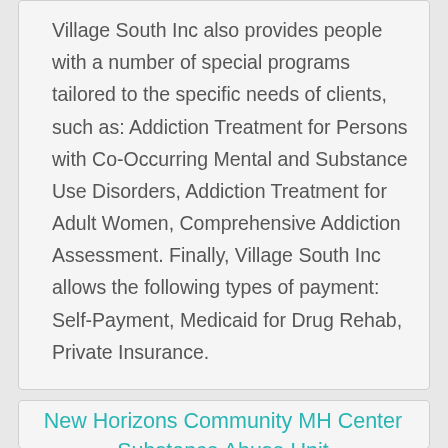Village South Inc also provides people with a number of special programs tailored to the specific needs of clients, such as: Addiction Treatment for Persons with Co-Occurring Mental and Substance Use Disorders, Addiction Treatment for Adult Women, Comprehensive Addiction Assessment. Finally, Village South Inc allows the following types of payment: Self-Payment, Medicaid for Drug Rehab, Private Insurance.
New Horizons Community MH Center Substance Abuse Unit